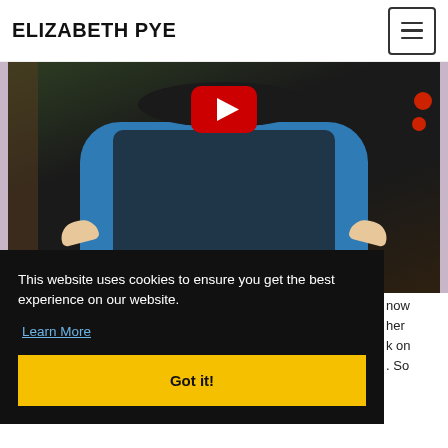ELIZABETH PYE
[Figure (screenshot): YouTube video thumbnail showing a person seated in a wheelchair outdoors, wearing a blue top and dark vest, with plants and red flowers in background. A red YouTube play button is centered at the top of the thumbnail.]
This website uses cookies to ensure you get the best experience on our website.
Learn More
Got it!
now her k on . So